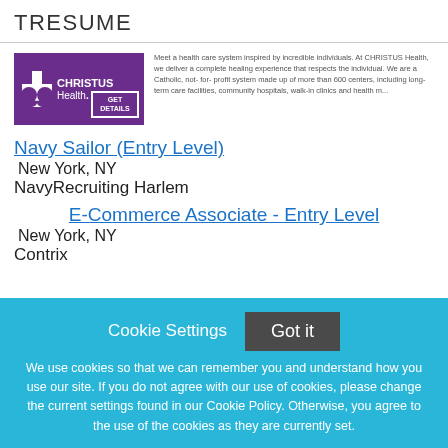TRESUME
[Figure (logo): CHRISTUS Health logo with purple background and GET DETAILS button]
Meet a health care system inspired by incredible individuals. At CHRISTUS Health, we deliver a complete healing experience that respects the individual. We are a Catholic, not-for-profit system made up of more than 600 centers, including long-term care facilities, community hospitals, walk-in clinics and health m...
Navy Sailor (Entry Level)
New York, NY
NavyRecruiting Harlem
E-Commerce Associate - Entry Level
New York, NY
Contrix
Cookie Settings
Got it
We use cookies so that we can remember you and understand how you use our site. If you do not agree with our use of cookies, please change the current settings found in our Cookie Policy. Otherwise, you agree to the use of the cookies as they are currently set.